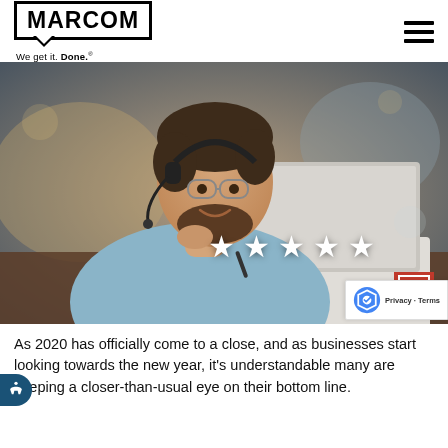[Figure (logo): MARCOM logo with speech bubble border and tagline 'We get it. Done.']
[Figure (photo): A smiling man wearing glasses and a headset, sitting at a desk with a laptop, wearing a light blue shirt. Five white stars overlay the lower portion of the image. A red MARCOM M badge appears in the bottom right corner.]
As 2020 has officially come to a close, and as businesses start looking towards the new year, it's understandable that many are keeping a closer-than-usual eye on their bottom line.